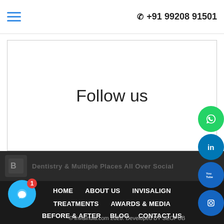+91 99208 91501
Follow us
[Figure (other): Social media icons on right side: WhatsApp (green), LinkedIn (blue), YouTube (blue), Instagram (blue)]
HOME   ABOUT US   INVISALIGN
TREATMENTS   AWARDS & MEDIA
BEFORE & AFTER   BLOG   CONTACT US
© invisindia.com 2020. Developed BY SEOPUB